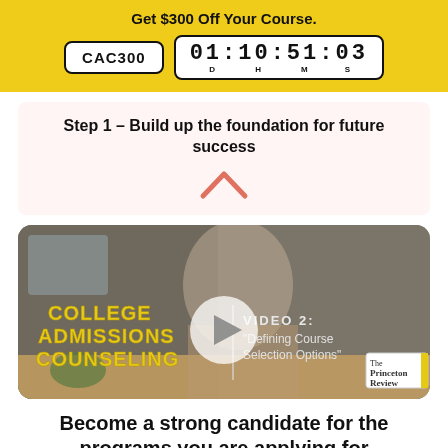Get $300 Off Your Course. CAC300 01:10:51:03 D H M S
Step 1 – Build up the foundation for future success
[Figure (screenshot): Video thumbnail for College Admissions Counseling course, showing Video 2: 'Defining Course Selection Options' with The Princeton Review logo and a play button overlay]
Become a strong candidate for the programs you are applying for